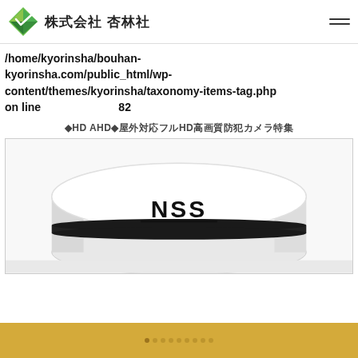株式会社 杏林社
/home/kyorinsha/bouhan-kyorinsha.com/public_html/wp-content/themes/kyorinsha/taxonomy-items-tag.php on line 82
◆HD AHD◆屋外対応フルHD高画質防犯カメラ特集
[Figure (photo): White cylindrical security camera with NSS logo, viewed from above at angle, showing dome housing]
●●●●●●●●●